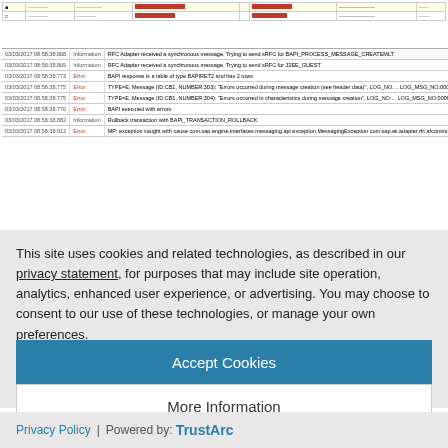[Figure (screenshot): Screenshot of a log table showing SAP RFC adapter log entries with timestamps, severity levels (Information/Error), and message details. Some content is redacted with red bars. Entries include RFC Adapter synchronous messages, BAPI responses, TYPE=E error messages, BAPI executed with errors, Rollback transaction, and MP exception messages.]
This site uses cookies and related technologies, as described in our privacy statement, for purposes that may include site operation, analytics, enhanced user experience, or advertising. You may choose to consent to our use of these technologies, or manage your own preferences.
Accept Cookies
More Information
Privacy Policy | Powered by: TrustArc